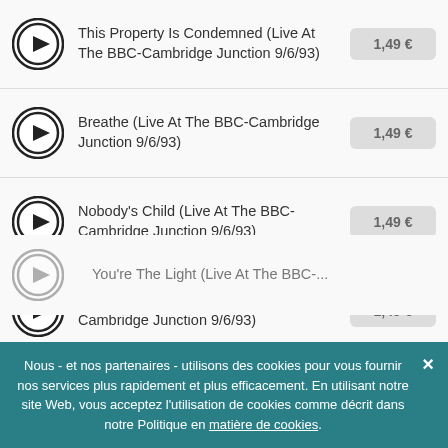This Property Is Condemned (Live At The BBC-Cambridge Junction 9/6/93) — 1,49 €
Breathe (Live At The BBC-Cambridge Junction 9/6/93) — 1,49 €
Nobody's Child (Live At The BBC-Cambridge Junction 9/6/93) — 1,49 €
Young Lovers Do (Live At The BBC-Cambridge Junction 9/6/93) — 1,49 €
Why Wasn't I More Grateful (When Life Was Sweet) (Live At The BBC-Cambridge Junction 9/6/93) — 1,49 €
Nous - et nos partenaires - utilisons des cookies pour vous fournir nos services plus rapidement et plus efficacement. En utilisant notre site Web, vous acceptez l'utilisation de cookies comme décrit dans notre Politique en matière de cookies.